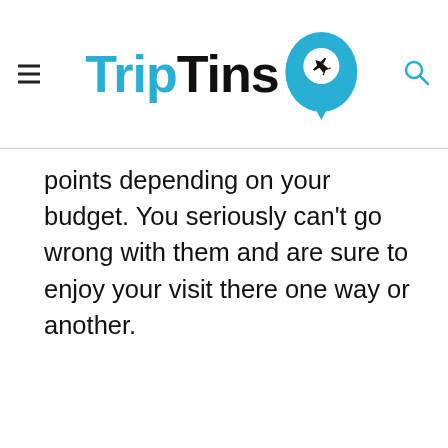TripTins
points depending on your budget. You seriously can’t go wrong with them and are sure to enjoy your visit there one way or another.
[Figure (other): Light gray placeholder image area with three gray dots at the bottom indicating an image carousel or slideshow]